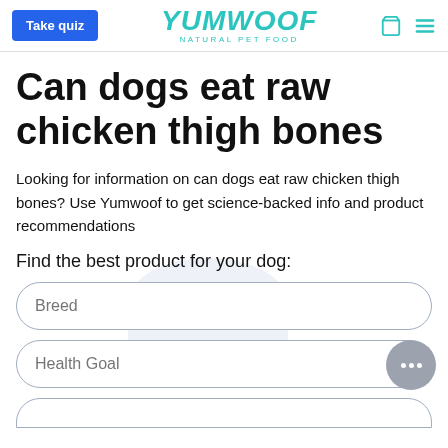Take quiz | YUMWOOF NATURAL PET FOOD
Can dogs eat raw chicken thigh bones
Looking for information on can dogs eat raw chicken thigh bones? Use Yumwoof to get science-backed info and product recommendations
Find the best product for your dog:
Breed
Health Goal